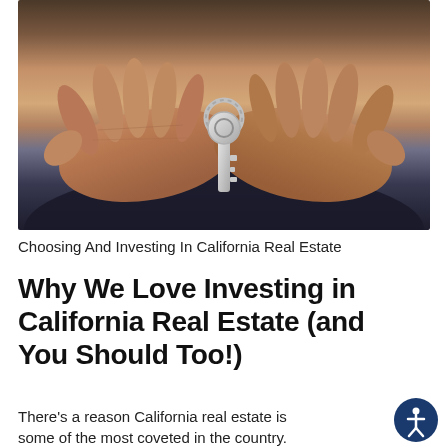[Figure (photo): Close-up photograph of two open hands (palms up) holding a silver house key on a ring, with a dark blurred background suggesting denim or dark fabric clothing.]
Choosing And Investing In California Real Estate
Why We Love Investing in California Real Estate (and You Should Too!)
There’s a reason California real estate is some of the most coveted in the country.